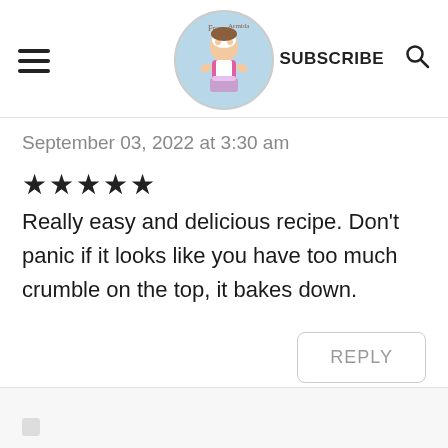SUBSCRIBE
September 03, 2022 at 3:30 am
★★★★★
Really easy and delicious recipe. Don't panic if it looks like you have too much crumble on the top, it bakes down.
REPLY